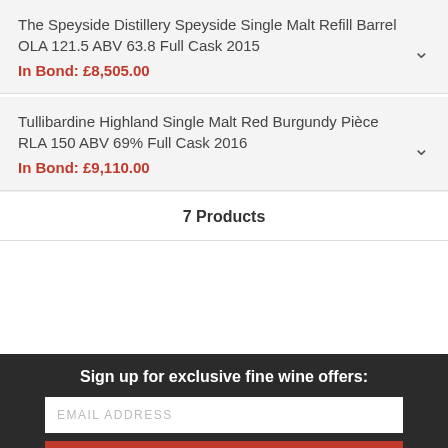The Speyside Distillery Speyside Single Malt Refill Barrel OLA 121.5 ABV 63.8 Full Cask 2015
In Bond: £8,505.00
Tullibardine Highland Single Malt Red Burgundy Pièce RLA 150 ABV 69% Full Cask 2016
In Bond: £9,110.00
7 Products
Sign up for exclusive fine wine offers:
EMAIL ADDRESS
SEND OFFERS
ABOUT CRU